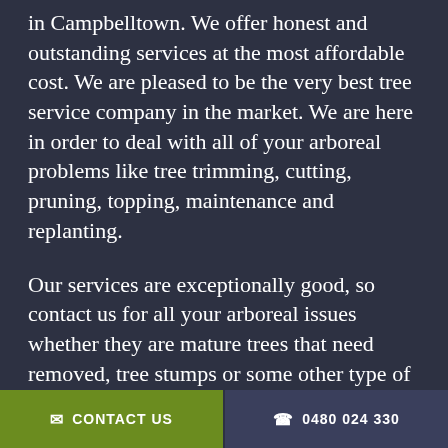in Campbelltown. We offer honest and outstanding services at the most affordable cost. We are pleased to be the very best tree service company in the market. We are here in order to deal with all of your arboreal problems like tree trimming, cutting, pruning, topping, maintenance and replanting.
Our services are exceptionally good, so contact us for all your arboreal issues whether they are mature trees that need removed, tree stumps or some other type of tree service. With advanced tools and highly trained personnel, we can manage any and all them.
By selecting us, clients gain access to the highest quality tree solutions at Campbelltown while saving on the cost and enjoying the perks
✉ CONTACT US   ☎ 0480 024 330